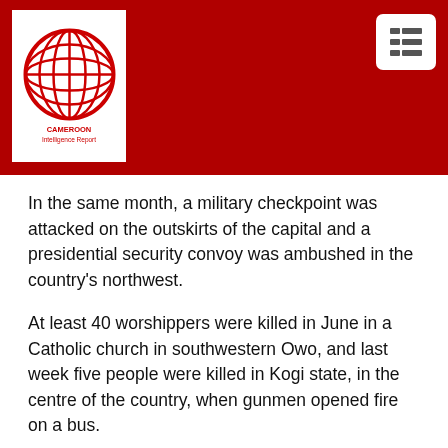[Figure (logo): Cameroon Intelligence Report logo in red on white background with globe graphic]
In the same month, a military checkpoint was attacked on the outskirts of the capital and a presidential security convoy was ambushed in the country's northwest.
At least 40 worshippers were killed in June in a Catholic church in southwestern Owo, and last week five people were killed in Kogi state, in the centre of the country, when gunmen opened fire on a bus.
Idayat Hassan, head of the Centre for Democracy and Development think tank, said security was now front and centre of public concerns.
“There is growing pressure from Nigerians across all walks of